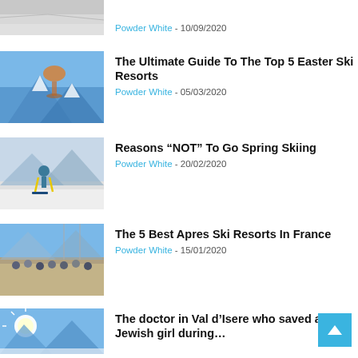[Figure (photo): Partial ski slope photo at top, cut off]
Powder White - 10/09/2020
[Figure (photo): Wine glass with mountains and snow in background]
The Ultimate Guide To The Top 5 Easter Ski Resorts
Powder White - 05/03/2020
[Figure (photo): Skier with yellow poles and skis in snowy mountain scene]
Reasons “NOT” To Go Spring Skiing
Powder White - 20/02/2020
[Figure (photo): Crowded apres ski terrace with mountains behind]
The 5 Best Apres Ski Resorts In France
Powder White - 15/01/2020
[Figure (photo): Sunny mountain valley with bright sunburst]
The doctor in Val d’Isere who saved a Jewish girl during…